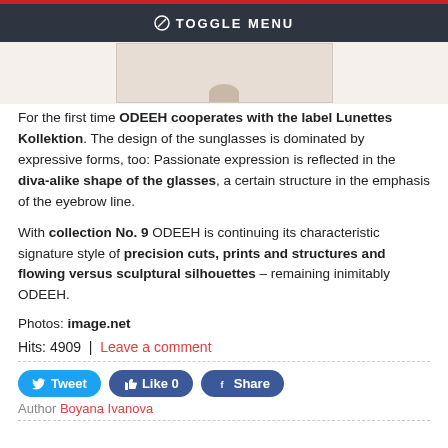TOGGLE MENU
[Figure (photo): Partial image of sunglasses on light background]
For the first time ODEEH cooperates with the label Lunettes Kollektion. The design of the sunglasses is dominated by expressive forms, too: Passionate expression is reflected in the diva-alike shape of the glasses, a certain structure in the emphasis of the eyebrow line.
With collection No. 9 ODEEH is continuing its characteristic signature style of precision cuts, prints and structures and flowing versus sculptural silhouettes – remaining inimitably ODEEH.
Photos: image.net
Hits: 4909  |  Leave a comment
Tweet  Like 0  Share
Author Boyana Ivanova